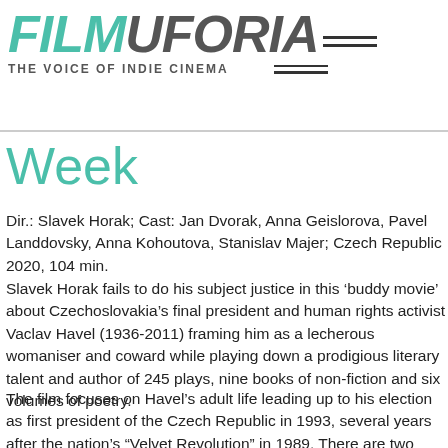[Figure (logo): Filmuforia logo with tagline 'THE VOICE OF INDIE CINEMA' and horizontal lines decoration]
Week
Dir.: Slavek Horak; Cast: Jan Dvorak, Anna Geislorova, Pavel Landdovsky, Anna Kohoutova, Stanislav Majer; Czech Republic 2020, 104 min.
Slavek Horak fails to do his subject justice in this ‘buddy movie’ about Czechoslovakia’s final president and human rights activist Vaclav Havel (1936-2011) framing him as a lecherous womaniser and coward while playing down a prodigious literary talent and author of 245 plays, nine books of non-fiction and six volumes of poetry.
The film focuses on Havel’s adult life leading up to his election as first president of the Czech Republic in 1993, several years after the nation’s “Velvet Revolution” in 1989. There are two time scales: the first one covers his Havel’s life at the theatre in the 1960s the second his imprisonment and dealings in the